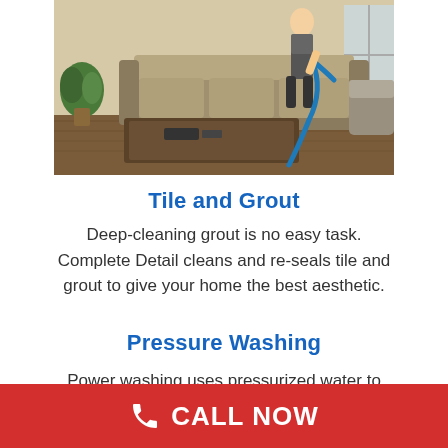[Figure (photo): Photo of a person steam cleaning a sofa/couch in a living room, with a blue hose visible and a coffee table in the foreground.]
Tile and Grout
Deep-cleaning grout is no easy task. Complete Detail cleans and re-seals tile and grout to give your home the best aesthetic.
Pressure Washing
Power washing uses pressurized water to
CALL NOW